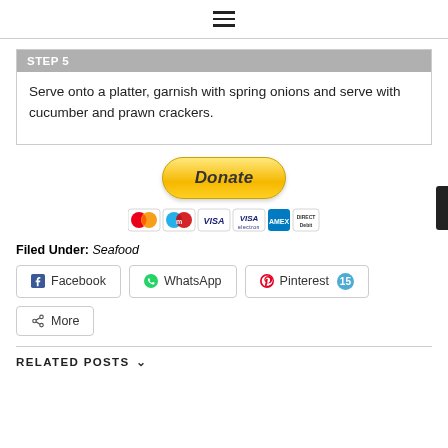☰ (hamburger menu icon)
STEP 5
Serve onto a platter, garnish with spring onions and serve with cucumber and prawn crackers.
[Figure (other): PayPal Donate button with payment card logos (MasterCard, Maestro, VISA, VISA Electron, American Express, Direct Debit)]
Filed Under: Seafood
Facebook  WhatsApp  Pinterest 15  More
RELATED POSTS